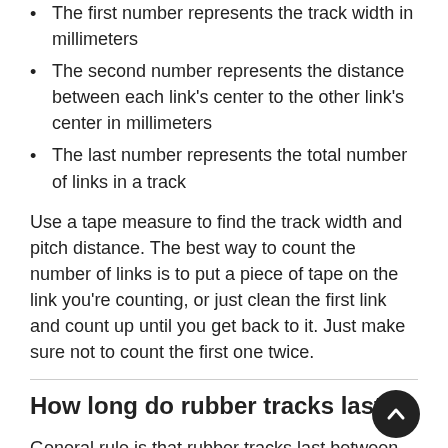The first number represents the track width in millimeters
The second number represents the distance between each link's center to the other link's center in millimeters
The last number represents the total number of links in a track
Use a tape measure to find the track width and pitch distance. The best way to count the number of links is to put a piece of tape on the link you're counting, or just clean the first link and count up until you get back to it. Just make sure not to count the first one twice.
How long do rubber tracks last?
General rule is that rubber tracks last between 1,200 and 1,600 operating hours. However, this depends a lot on the conditions of the ground that your heavy equipment